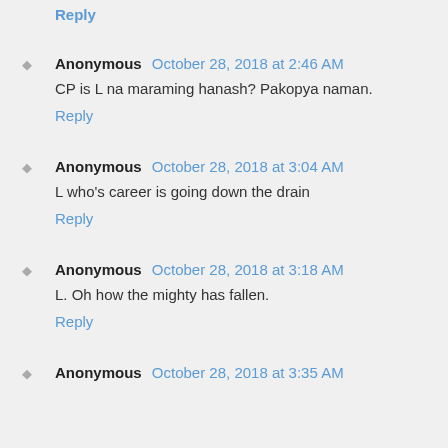Reply
Anonymous  October 28, 2018 at 2:46 AM
CP is L na maraming hanash? Pakopya naman.
Reply
Anonymous  October 28, 2018 at 3:04 AM
L who's career is going down the drain
Reply
Anonymous  October 28, 2018 at 3:18 AM
L. Oh how the mighty has fallen.
Reply
Anonymous  October 28, 2018 at 3:35 AM